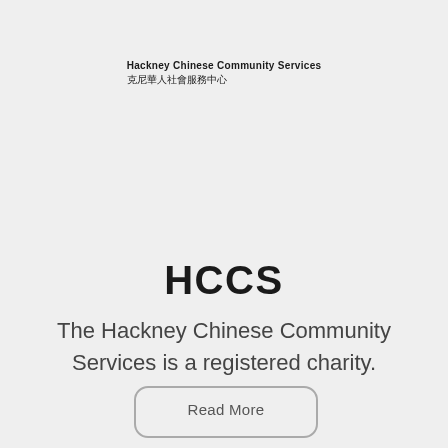Hackney Chinese Community Services 克尼華人社會服務中心
HCCS
The Hackney Chinese Community Services is a registered charity.
Read More